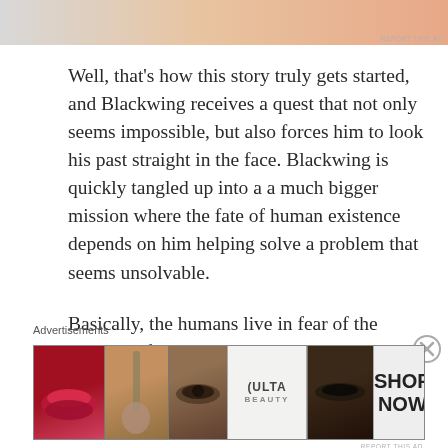[Figure (photo): Top banner advertisement with gradient colors (peach/salmon tones), partially cropped at top of page. Small 'REPORT THIS AD' text at bottom right.]
Well, that's how this story truly gets started, and Blackwing receives a quest that not only seems impossible, but also forces him to look his past straight in the face. Blackwing is quickly tangled up into a a much bigger mission where the fate of human existence depends on him helping solve a problem that seems unsolvable.
Basically, the humans live in fear of the Dhojaran forces and the Darlings, who were once human and now turned into magical beings by the Deep Kings. All of these forces live in the Misery alongside ghosts and other magical, yet terrifying beings.
Advertisements
[Figure (photo): ULTA Beauty advertisement banner showing close-up images of lips, makeup brush, eye, ULTA logo, smoky eye makeup, with 'SHOP NOW' call to action.]